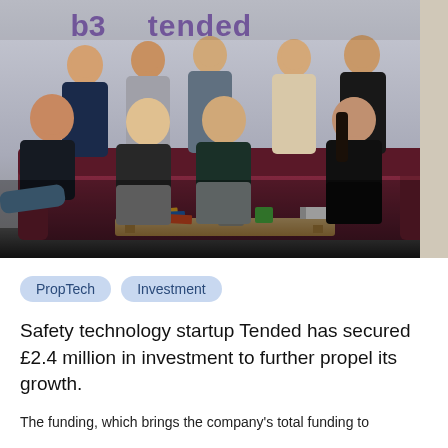[Figure (photo): Group photo of approximately 9 people (startup team) seated and standing on/around a maroon sofa in an office, with the 'Tended' company logo visible on the wall behind them. A coffee table with magazines, a plant, and a book is in the foreground.]
PropTech   Investment
Safety technology startup Tended has secured £2.4 million in investment to further propel its growth.
The funding, which brings the company's total funding to